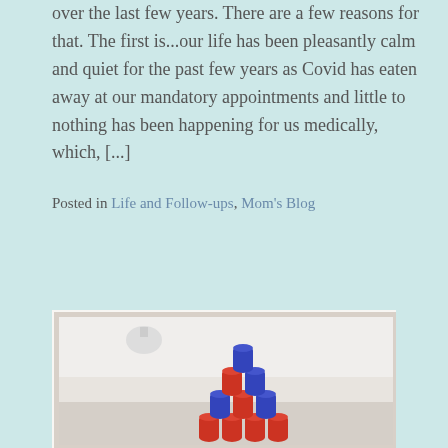over the last few years. There are a few reasons for that. The first is...our life has been pleasantly calm and quiet for the past few years as Covid has eaten away at our mandatory appointments and little to nothing has been happening for us medically, which, [...]
Posted in Life and Follow-ups, Mom's Blog
[Figure (photo): Photo of a pyramid structure made from stacked red and blue plastic cups arranged on a surface in a room with white walls and ceiling-mounted lighting.]